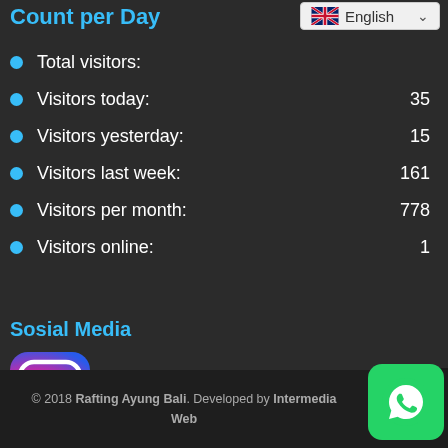Count per Day
[Figure (screenshot): Language selector dropdown showing UK flag and 'English' label with dropdown arrow]
Total visitors:
Visitors today: 35
Visitors yesterday: 15
Visitors last week: 161
Visitors per month: 778
Visitors online: 1
Sosial Media
[Figure (logo): Instagram logo icon with gradient background]
[Figure (logo): WhatsApp logo icon green button]
© 2018 Rafting Ayung Bali. Developed by Intermedia Web